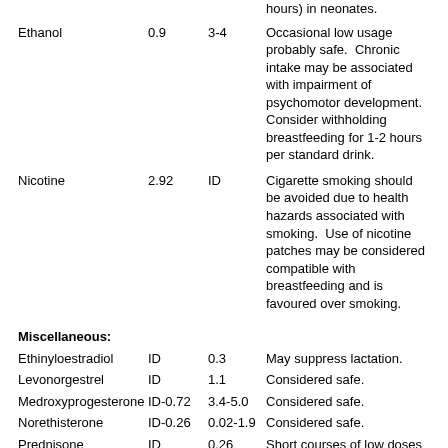| Drug | M/P | Half-life (h) | Comments |
| --- | --- | --- | --- |
|  |  |  | hours) in neonates. |
| Ethanol | 0.9 | 3-4 | Occasional low usage probably safe.  Chronic intake may be associated with impairment of psychomotor development.  Consider withholding breastfeeding for 1-2 hours per standard drink. |
| Nicotine | 2.92 | ID | Cigarette smoking should be avoided due to health hazards associated with smoking.  Use of nicotine patches may be considered compatible with breastfeeding and is favoured over smoking. |
| Miscellaneous: |  |  |  |
| Ethinyloestradiol | ID | 0.3 | May suppress lactation. |
| Levonorgestrel | ID | 1.1 | Considered safe. |
| Medroxyprogesterone | ID-0.72 | 3.4-5.0 | Considered safe. |
| Norethisterone | ID-0.26 | 0.02-1.9 | Considered safe. |
| Prednisone | ID | 0.26 | Short courses of low doses (≤ 20mg daily) are probably safe.  Note: there |